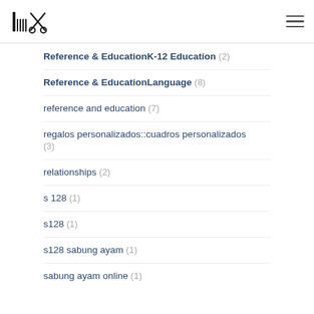Hair salon logo with comb and scissors, hamburger menu
Reference & EducationK-12 Education (2)
Reference & EducationLanguage (8)
reference and education (7)
regalos personalizados::cuadros personalizados (3)
relationships (2)
s 128 (1)
s128 (1)
s128 sabung ayam (1)
sabung ayam online (1)